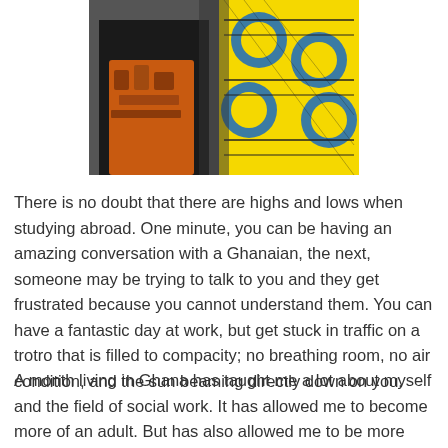[Figure (photo): Cropped photo showing two people in colorful African print clothing, partially visible from the torso up. One person wears an orange and brown patterned fabric, the other wears a bright yellow, blue, and black geometric print shirt.]
There is no doubt that there are highs and lows when studying abroad. One minute, you can be having an amazing conversation with a Ghanaian, the next, someone may be trying to talk to you and they get frustrated because you cannot understand them. You can have a fantastic day at work, but get stuck in traffic on a trotro that is filled to compacity; no breathing room, no air condition, and the sun beaming directly down on you.
A month living in Ghana has taught me a lot about myself and the field of social work. It has allowed me to become more of an adult. But has also allowed me to be more humble, patient, and appreciative as well. I found that having a focused mine during the work